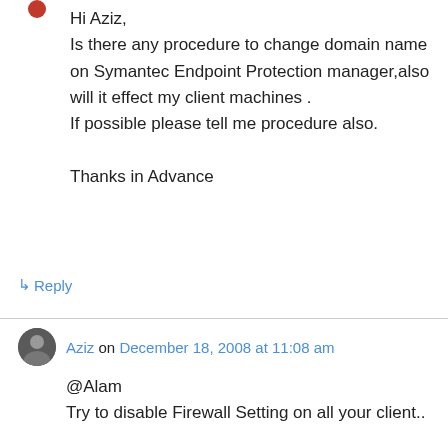Hi Aziz,
Is there any procedure to change domain name on Symantec Endpoint Protection manager,also will it effect my client machines .
If possible please tell me procedure also.

Thanks in Advance
↳ Reply
Aziz on December 18, 2008 at 11:08 am
@Alam
Try to disable Firewall Setting on all your client..

@Sander
did you install Norton Ghost on that client? try to